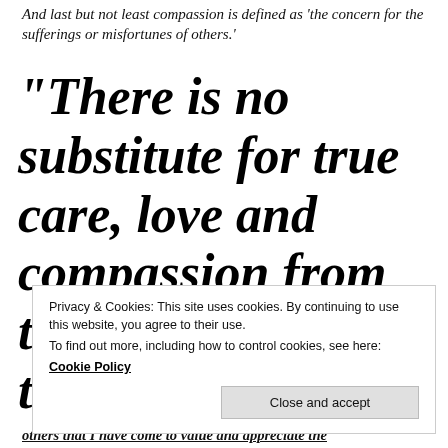And last but not least compassion is defined as 'the concern for the sufferings or misfortunes of others.'
“There is no substitute for true care, love and compassion from those that are truely there for
Privacy & Cookies: This site uses cookies. By continuing to use this website, you agree to their use.
To find out more, including how to control cookies, see here:
Cookie Policy
Close and accept
others that I have come to value and appreciate the